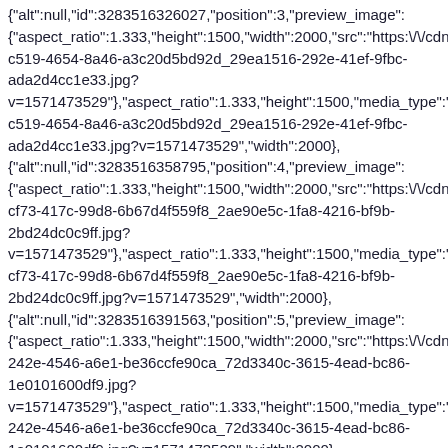{"alt":null,"id":3283516326027,"position":3,"preview_image": {"aspect_ratio":1.333,"height":1500,"width":2000,"src":"https:\/\/cdn c519-4654-8a46-a3c20d5bd92d_29ea1516-292e-41ef-9fbc-ada2d4cc1e33.jpg?v=1571473529"},"aspect_ratio":1.333,"height":1500,"media_type":"... c519-4654-8a46-a3c20d5bd92d_29ea1516-292e-41ef-9fbc-ada2d4cc1e33.jpg?v=1571473529","width":2000}, {"alt":null,"id":3283516358795,"position":4,"preview_image": {"aspect_ratio":1.333,"height":1500,"width":2000,"src":"https:\/\/cdn cf73-417c-99d8-6b67d4f559f8_2ae90e5c-1fa8-4216-bf9b-2bd24dc0c9ff.jpg?v=1571473529"},"aspect_ratio":1.333,"height":1500,"media_type":"... cf73-417c-99d8-6b67d4f559f8_2ae90e5c-1fa8-4216-bf9b-2bd24dc0c9ff.jpg?v=1571473529","width":2000}, {"alt":null,"id":3283516391563,"position":5,"preview_image": {"aspect_ratio":1.333,"height":1500,"width":2000,"src":"https:\/\/cdn 242e-4546-a6e1-be36ccfe90ca_72d3340c-3615-4ead-bc86-1e0101600df9.jpg?v=1571473529"},"aspect_ratio":1.333,"height":1500,"media_type":"... 242e-4546-a6e1-be36ccfe90ca_72d3340c-3615-4ead-bc86-1e0101600df9.jpg?v=1571473529","width":2000}, {"alt":null,"id":3283516424331,"position":6,"preview_image": {"aspect_ratio":1.333,"height":1500,"width":2000,"src":"https:\/\/cdn ad67-49d9-9faf-dadfc7df20c4_b7da9b07-8f20-4f88-b0d7-8252e4e31d3b.jpg?